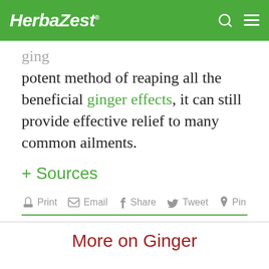HerbаZest.
potent method of reaping all the beneficial ginger effects, it can still provide effective relief to many common ailments.
+ Sources
Print  Email  Share  Tweet  Pin
More on Ginger